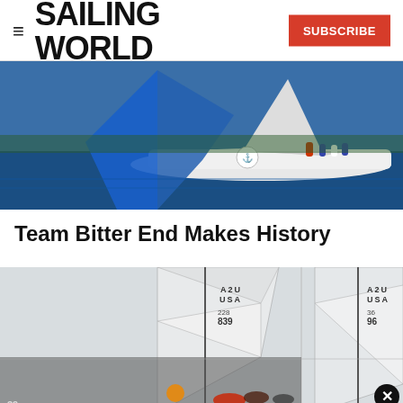SAILING WORLD | SUBSCRIBE
[Figure (photo): A white racing sailboat with a blue spinnaker sail deployed, crew members visible on deck, sailing on blue water with a wooded shoreline in the background.]
Team Bitter End Makes History
[Figure (photo): Aerial or top-down view of two small racing sailboats on light-colored water. Sails marked 'A2U USA 228 839' and 'A2U USA 36 96' are visible. A number '39' appears at the bottom left. A close button (X) appears at the bottom right.]
Sailboat Racing Tips: Second-